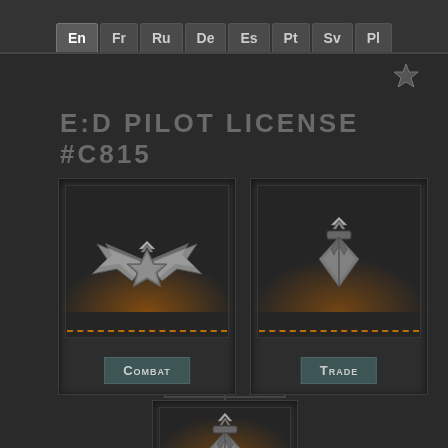En Fr Ru De Es Pt Sv Pl
E:D PILOT LICENSE #C815
[Figure (illustration): Combat rank badge icon - metallic eagle wings with central emblem, glowing orange at base, in a dark inset card panel. Label: Combat]
[Figure (illustration): Trade rank badge icon - dark metallic diamond/suit figure with chevron top, glowing orange at base, in a dark inset card panel. Label: Trade]
[Figure (illustration): Third rank badge icon partially visible at bottom - similar to Trade badge, in a dark card panel. Label partially visible: E...]